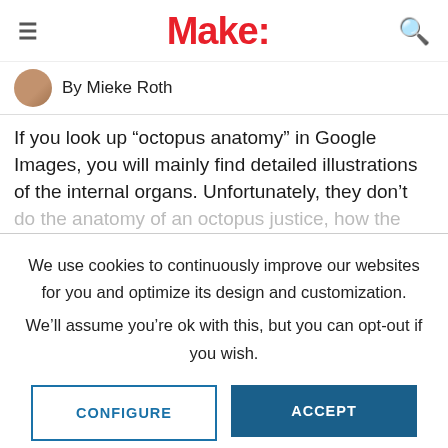Make:
By Mieke Roth
If you look up “octopus anatomy” in Google Images, you will mainly find detailed illustrations of the internal organs. Unfortunately, they don’t do the anatomy of an octopus justice, how the…
We use cookies to continuously improve our websites for you and optimize its design and customization.
We’ll assume you’re ok with this, but you can opt-out if you wish.
CONFIGURE
ACCEPT